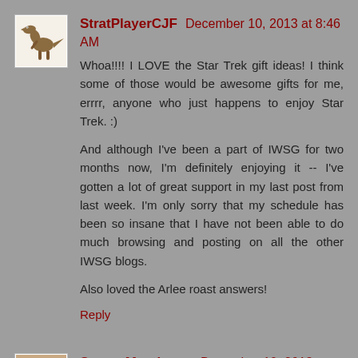StratPlayerCJF December 10, 2013 at 8:46 AM
Whoa!!!! I LOVE the Star Trek gift ideas! I think some of those would be awesome gifts for me, errrr, anyone who just happens to enjoy Star Trek. :)
And although I've been a part of IWSG for two months now, I'm definitely enjoying it -- I've gotten a lot of great support in my last post from last week. I'm only sorry that my schedule has been so insane that I have not been able to do much browsing and posting on all the other IWSG blogs.
Also loved the Arlee roast answers!
Reply
Sangu Mandanna December 10, 2013 at 9:46 AM
Ooooh QUILT TRIP us such a great title! I'd read it based on that alone :-)
Reply